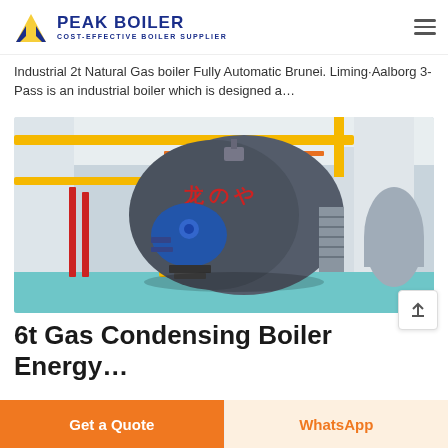PEAK BOILER - COST-EFFECTIVE BOILER SUPPLIER
Industrial 2t Natural Gas boiler Fully Automatic Brunei. Liming·Aalborg 3-Pass is an industrial boiler which is designed a…
[Figure (photo): Industrial gas boiler in a factory setting with yellow pipes, a large cylindrical boiler body with blue burner assembly, and storage tanks in the background. Overhead crane rail visible at top.]
6t Gas Condensing Boiler Energy…
Get a Quote
WhatsApp